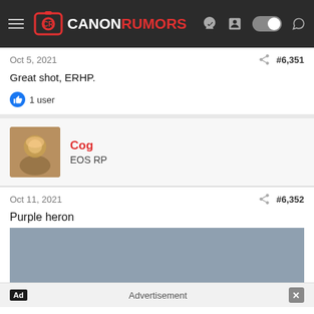Canon Rumors
Oct 5, 2021   #6,351
Great shot, ERHP.
1 user
Cog
EOS RP
Oct 11, 2021   #6,352
Purple heron
[Figure (screenshot): Advertisement placeholder image - grayish blue area]
Ad  Advertisement  ×